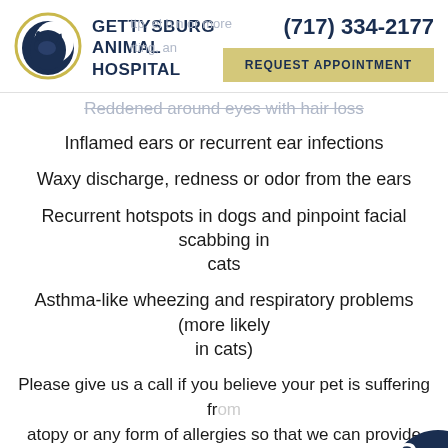[Figure (logo): Gettysburg Animal Hospital logo — circular emblem with crescent moon shape and dog/cat silhouette, dark navy blue]
Gettysburg Animal Hospital — (717) 334-2177 — REQUEST APPOINTMENT
Reddened around eyes with hair loss
Inflamed ears or recurrent ear infections
Waxy discharge, redness or odor from the ears
Recurrent hotspots in dogs and pinpoint facial scabbing in cats
Asthma-like wheezing and respiratory problems (more likely in cats)
Please give us a call if you believe your pet is suffering from atopy or any form of allergies so that we can provide them